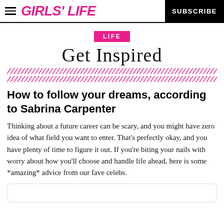GIRLS' LIFE | SUBSCRIBE
LIFE
Get Inspired
[Figure (illustration): Two rows of diagonal pink slash marks forming a decorative stripe pattern]
How to follow your dreams, according to Sabrina Carpenter
Thinking about a future career can be scary, and you might have zero idea of what field you want to enter. That’s perfectly okay, and you have plenty of time to figure it out. If you’re biting your nails with worry about how you’ll choose and handle life ahead, here is some *amazing* advice from our fave celebs.